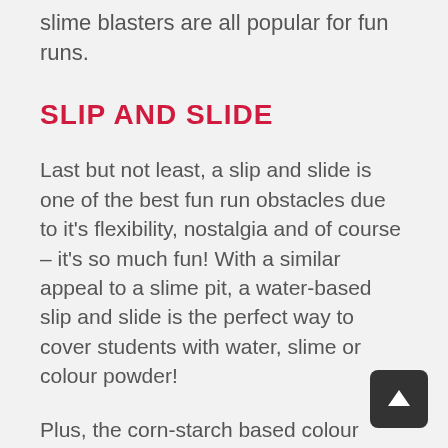slime blasters are all popular for fun runs.
SLIP AND SLIDE
Last but not least, a slip and slide is one of the best fun run obstacles due to it's flexibility, nostalgia and of course – it's so much fun! With a similar appeal to a slime pit, a water-based slip and slide is the perfect way to cover students with water, slime or colour powder!
Plus, the corn-starch based colour powder from Australian Fundraising becomes extra vibrant when clothing is wet – a slip and slide